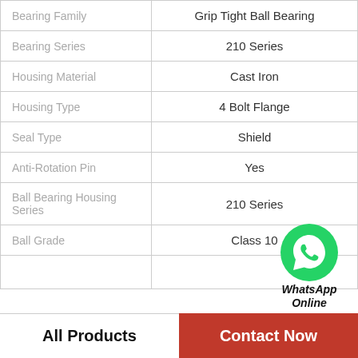| Property | Value |
| --- | --- |
| Bearing Family | Grip Tight Ball Bearing |
| Bearing Series | 210 Series |
| Housing Material | Cast Iron |
| Housing Type | 4 Bolt Flange |
| Seal Type | Shield |
| Anti-Rotation Pin | Yes |
| Ball Bearing Housing Series | 210 Series |
| Ball Grade | Class 10 |
|  |  |
[Figure (logo): WhatsApp green phone icon with WhatsApp Online text label]
All Products
Contact Now